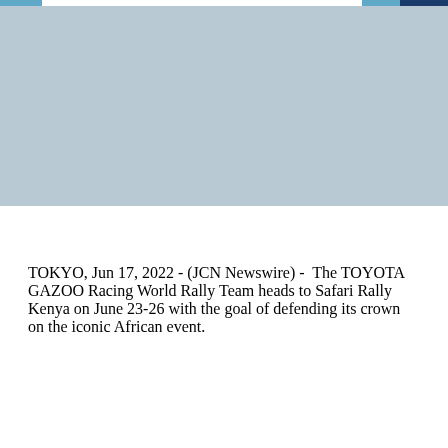[Figure (photo): Large photo placeholder with blue-gray background, representing an image of the TOYOTA GAZOO Racing World Rally Team or Safari Rally Kenya.]
TOKYO, Jun 17, 2022 - (JCN Newswire) -  The TOYOTA GAZOO Racing World Rally Team heads to Safari Rally Kenya on June 23-26 with the goal of defending its crown on the iconic African event.